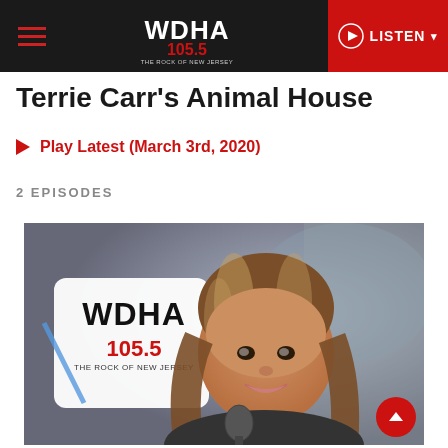WDHA 105.5 The Rock of New Jersey - Navigation Bar
Terrie Carr's Animal House
Play Latest (March 3rd, 2020)
2 EPISODES
[Figure (photo): Radio host Terrie Carr smiling in a radio studio, with a WDHA 105.5 The Rock of New Jersey station sign visible in the background.]